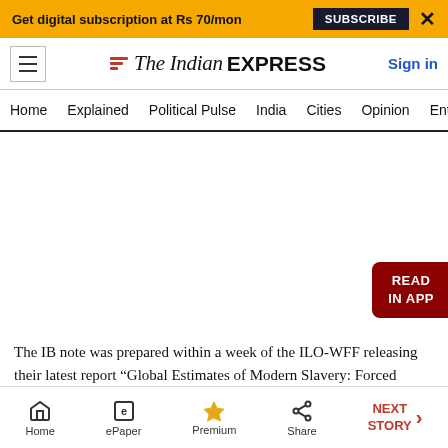Get digital subscription at Rs 70/mon  SUBSCRIBE  X
[Figure (logo): The Indian Express newspaper logo with red chevron stripes and italic/bold text]
Home  Explained  Political Pulse  India  Cities  Opinion  Entertainment
[Figure (other): White advertisement/banner area with READ IN APP button on right side]
The IB note was prepared within a week of the ILO-WFF releasing their latest report “Global Estimates of Modern Slavery: Forced Labour and Forced Marriage” on September 19
Home  ePaper  Premium  Share  NEXT STORY